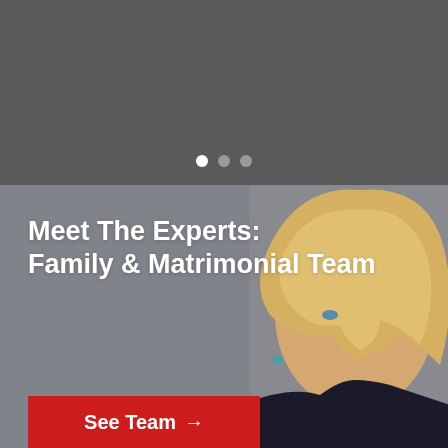[Figure (screenshot): Top dark gray section with three carousel indicator dots (white, dark gray, dark gray)]
[Figure (photo): Gray background with a woman with blonde bob haircut wearing a dark blazer and teal earring, overlaid with white bold text 'Meet The Experts: Family & Matrimonial Team' and a red 'See Team →' button]
Meet The Experts: Family & Matrimonial Team